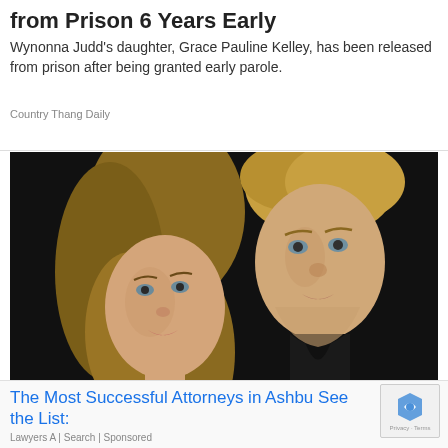from Prison 6 Years Early
Wynonna Judd's daughter, Grace Pauline Kelley, has been released from prison after being granted early parole.
Country Thang Daily
[Figure (photo): A young blonde woman and a tall blond man in a black shirt, photographed against a dark background, appearing to be at a formal or celebrity event.]
The Most Successful Attorneys in Ashbu See the List:
Lawyers A | Search | Sponsored